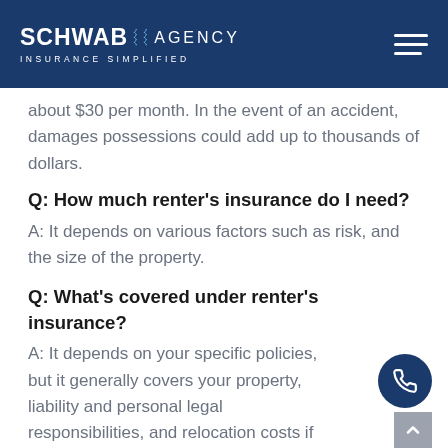SCHWAB AGENCY — INSURANCE SIMPLIFIED
about $30 per month. In the event of an accident, damages possessions could add up to thousands of dollars.
Q: How much renter's insurance do I need?
A: It depends on various factors such as risk, and the size of the property.
Q: What's covered under renter's insurance?
A: It depends on your specific policies, but it generally covers your property, liability and personal legal responsibilities, and relocation costs if your rental property is temporarily unavailable.